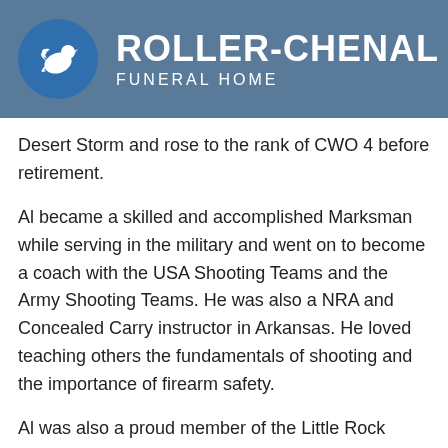[Figure (logo): Roller-Chenal Funeral Home logo with blue circle containing white dove silhouette and white text reading ROLLER-CHENAL FUNERAL HOME on steel blue background]
Desert Storm and rose to the rank of CWO 4 before retirement.
Al became a skilled and accomplished Marksman while serving in the military and went on to become a coach with the USA Shooting Teams and the Army Shooting Teams. He was also a NRA and Concealed Carry instructor in Arkansas. He loved teaching others the fundamentals of shooting and the importance of firearm safety.
Al was also a proud member of the Little Rock Jaycees and a 32nd Degree Mason.